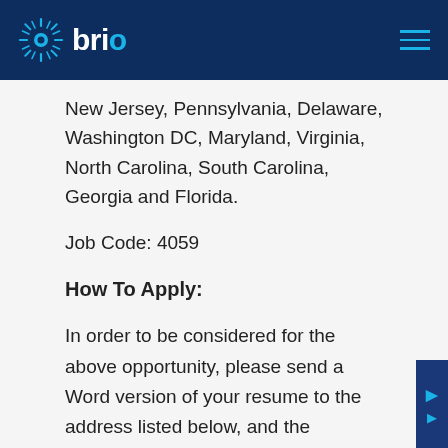brio
New Jersey, Pennsylvania, Delaware, Washington DC, Maryland, Virginia, North Carolina, South Carolina, Georgia and Florida.
Job Code: 4059
How To Apply:
In order to be considered for the above opportunity, please send a Word version of your resume to the address listed below, and the appropriate member of our executive